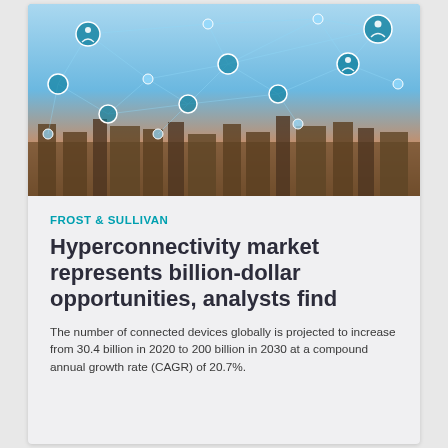[Figure (photo): Aerial cityscape photo with a digital network overlay showing connected nodes and people icons linked by glowing blue lines against a sky background, representing hyperconnectivity.]
FROST & SULLIVAN
Hyperconnectivity market represents billion-dollar opportunities, analysts find
The number of connected devices globally is projected to increase from 30.4 billion in 2020 to 200 billion in 2030 at a compound annual growth rate (CAGR) of 20.7%.